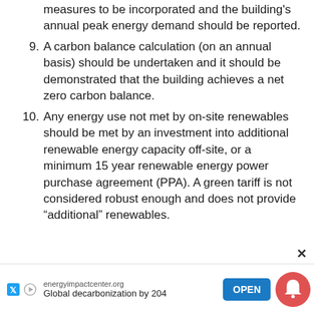measures to be incorporated and the building's annual peak energy demand should be reported.
9. A carbon balance calculation (on an annual basis) should be undertaken and it should be demonstrated that the building achieves a net zero carbon balance.
10. Any energy use not met by on-site renewables should be met by an investment into additional renewable energy capacity off-site, or a minimum 15 year renewable energy power purchase agreement (PPA). A green tariff is not considered robust enough and does not provide “additional” renewables.
[Figure (other): Advertisement banner for energyimpactcenter.org - Global decarbonization by 2040, with OPEN button and notification bell icon]